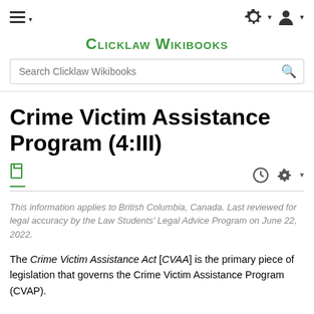Clicklaw Wikibooks
Crime Victim Assistance Program (4:III)
This information applies to British Columbia, Canada. Last reviewed for legal accuracy by the Law Students' Legal Advice Program on June 22, 2022.
The Crime Victim Assistance Act [CVAA] is the primary piece of legislation that governs the Crime Victim Assistance Program (CVAP).